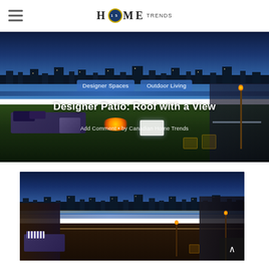HOME TRENDS (logo with 15th anniversary badge)
[Figure (photo): Rooftop patio at dusk with outdoor seating, fire pit, glowing cube table, torches, and city lights in background]
Designer Spaces
Outdoor Living
Designer Patio: Roof with a View
Add Comment • by Canadian Home Trends
[Figure (photo): Wide-angle rooftop view at night showing city lights, water, outdoor furniture with striped cushions, and torches]